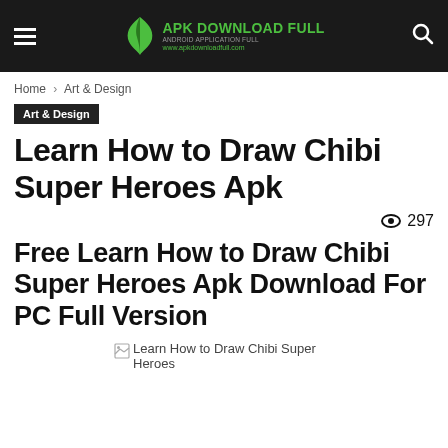APK DOWNLOAD FULL — apkdownloadfull.com
Home › Art & Design
Art & Design
Learn How to Draw Chibi Super Heroes Apk
👁 297
Free Learn How to Draw Chibi Super Heroes Apk Download For PC Full Version
[Figure (photo): Broken image placeholder for Learn How to Draw Chibi Super Heroes]